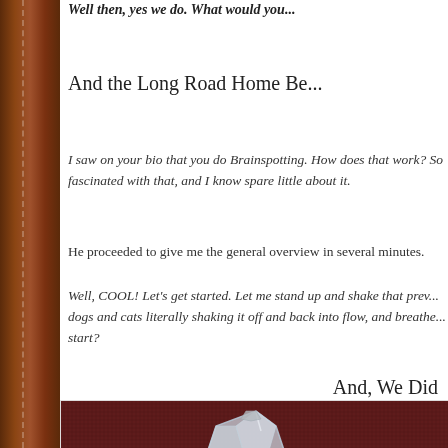Well then, yes we do. What would you...
And the Long Road Home Be...
I saw on your bio that you do Brainspotting. How does that work? So fascinated with that, and I know spare little about it.
He proceeded to give me the general overview in several minutes.
Well, COOL! Let's get started. Let me stand up and shake that prev... dogs and cats literally shaking it off and back into flow, and breathe... start?
And, We Did
[Figure (photo): A clear quartz crystal point placed on a dark red/maroon fabric background]